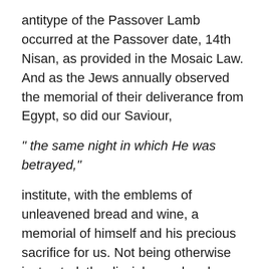antitype of the Passover Lamb occurred at the Passover date, 14th Nisan, as provided in the Mosaic Law. And as the Jews annually observed the memorial of their deliverance from Egypt, so did our Saviour,
" the same night in which He was betrayed,"
institute, with the emblems of unleavened bread and wine, a memorial of himself and his precious sacrifice for us. Not being otherwise instructed, the disciples and early church would and did observe this memorial annually, on the 14th Nisan.
The consecrated Believers in the Blood of Jesus,
“shed for many for the remission of sins,”
who see the propriety of this observance annually,